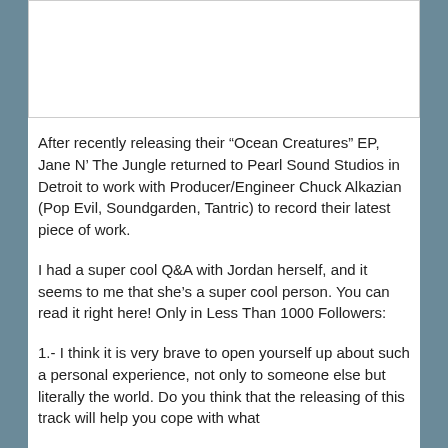[Figure (other): White image box at top of page]
After recently releasing their “Ocean Creatures” EP, Jane N’ The Jungle returned to Pearl Sound Studios in Detroit to work with Producer/Engineer Chuck Alkazian (Pop Evil, Soundgarden, Tantric) to record their latest piece of work.
I had a super cool Q&A with Jordan herself, and it seems to me that she’s a super cool person. You can read it right here! Only in Less Than 1000 Followers:
1.- I think it is very brave to open yourself up about such a personal experience, not only to someone else but literally the world. Do you think that the releasing of this track will help you cope with what